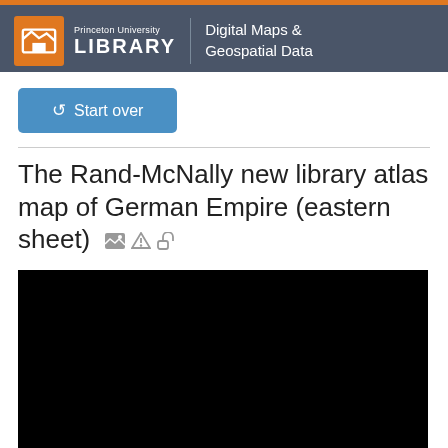Princeton University LIBRARY | Digital Maps & Geospatial Data
Start over
The Rand-McNally new library atlas map of German Empire (eastern sheet)
[Figure (photo): Black rectangle representing a map preview image that has not loaded]